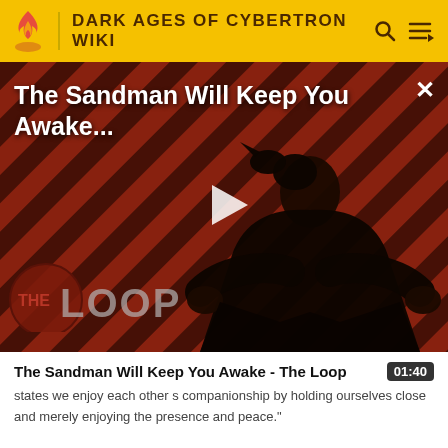DARK AGES OF CYBERTRON WIKI
[Figure (screenshot): Video thumbnail for 'The Sandman Will Keep You Awake - The Loop' showing a dark figure in a black cloak against a red and black diagonal striped background with The Loop logo overlay and a white play button in the center.]
The Sandman Will Keep You Awake - The Loop
states  we enjoy each other s companionship by holding ourselves close and merely enjoying the presence and peace."